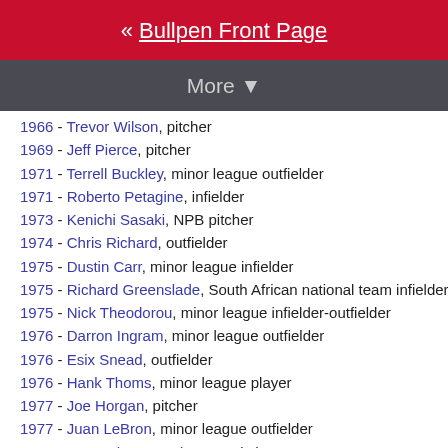« Bullpen Front Page
More ▼
1966 - Trevor Wilson, pitcher
1969 - Jeff Pierce, pitcher
1971 - Terrell Buckley, minor league outfielder
1971 - Roberto Petagine, infielder
1973 - Kenichi Sasaki, NPB pitcher
1974 - Chris Richard, outfielder
1975 - Dustin Carr, minor league infielder
1975 - Richard Greenslade, South African national team infielder
1975 - Nick Theodorou, minor league infielder-outfielder
1976 - Darron Ingram, minor league outfielder
1976 - Esix Snead, outfielder
1976 - Hank Thoms, minor league player
1977 - Joe Horgan, pitcher
1977 - Juan LeBron, minor league outfielder
1977 - Myung-hwan Park, KBO pitcher
1978 - Ramon Borrego, minor league infielder and manager